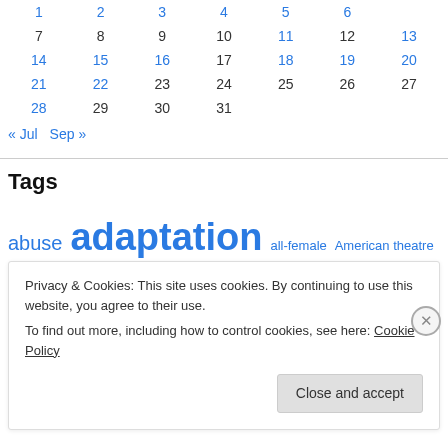| Sun | Mon | Tue | Wed | Thu | Fri | Sat |
| --- | --- | --- | --- | --- | --- | --- |
| 1 | 2 | 3 | 4 | 5 | 6 |  |
| 7 | 8 | 9 | 10 | 11 | 12 | 13 |
| 14 | 15 | 16 | 17 | 18 | 19 | 20 |
| 21 | 22 | 23 | 24 | 25 | 26 | 27 |
| 28 | 29 | 30 | 31 |  |  |  |
« Jul   Sep »
Tags
abuse adaptation all-female American theatre battersea arts centre biography cabaret children children's theatre circus comedy